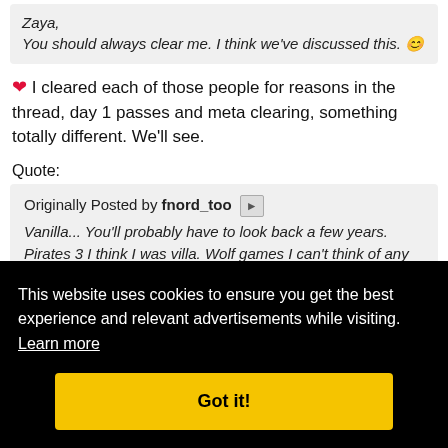Zaya, You should always clear me. I think we've discussed this. 😊
❤ I cleared each of those people for reasons in the thread, day 1 passes and meta clearing, something totally different. We'll see.
Quote:
Originally Posted by fnord_too
Vanilla... You'll probably have to look back a few years. Pirates 3 I think I was villa. Wolf games I can't think of any titles off the top of my head, but there are a lot.
This website uses cookies to ensure you get the best experience and relevant advertisements while visiting. Learn more
Got it!